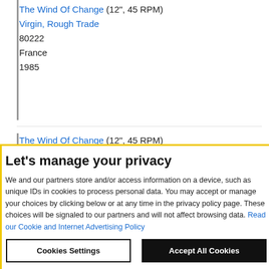The Wind Of Change (12", 45 RPM) Virgin, Rough Trade 80222 France 1985
The Wind Of Change (12", 45 RPM) Megadisc MD 125292 Netherlands 1985
Let's manage your privacy
We and our partners store and/or access information on a device, such as unique IDs in cookies to process personal data. You may accept or manage your choices by clicking below or at any time in the privacy policy page. These choices will be signaled to our partners and will not affect browsing data. Read our Cookie and Internet Advertising Policy